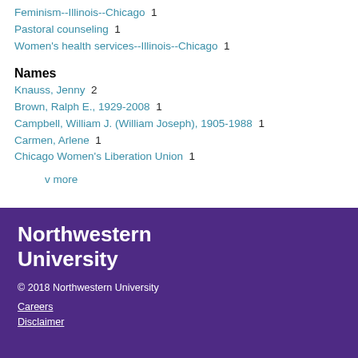Feminism--Illinois--Chicago  1
Pastoral counseling  1
Women's health services--Illinois--Chicago  1
Names
Knauss, Jenny  2
Brown, Ralph E., 1929-2008  1
Campbell, William J. (William Joseph), 1905-1988  1
Carmen, Arlene  1
Chicago Women's Liberation Union  1
v more
Northwestern University
© 2018 Northwestern University
Careers
Disclaimer